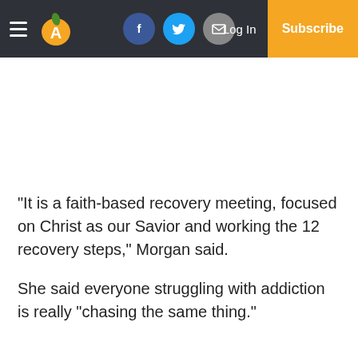Navigation header with hamburger menu, logo, social icons (Facebook, Twitter, Email), Log In, and Subscribe button
“It is a faith-based recovery meeting, focused on Christ as our Savior and working the 12 recovery steps,” Morgan said.
She said everyone struggling with addiction is really “chasing the same thing.”